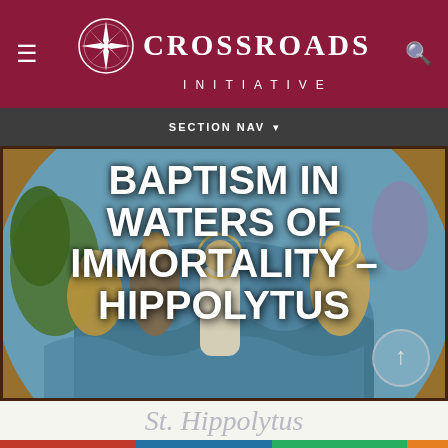CROSSROADS INITIATIVE
SECTION NAV
[Figure (photo): Byzantine/Orthodox fresco painting of the Baptism of Christ, dome ceiling painting with figures in colorful robes surrounding a central figure being baptized, teal and gold tones]
BAPTISM IN WATERS OF IMMORTALITY – HIPPOLYTUS
St. Hippolytus